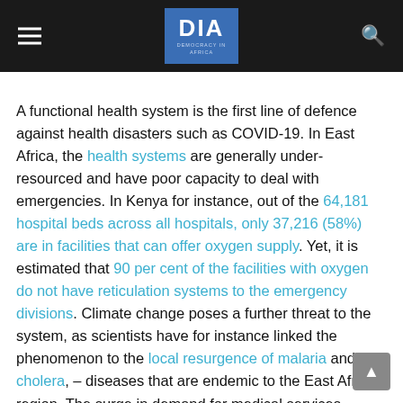DIA — Democracy in Africa
A functional health system is the first line of defence against health disasters such as COVID-19. In East Africa, the health systems are generally under-resourced and have poor capacity to deal with emergencies. In Kenya for instance, out of the 64,181 hospital beds across all hospitals, only 37,216 (58%) are in facilities that can offer oxygen supply. Yet, it is estimated that 90 per cent of the facilities with oxygen do not have reticulation systems to the emergency divisions. Climate change poses a further threat to the system, as scientists have for instance linked the phenomenon to the local resurgence of malaria and cholera, – diseases that are endemic to the East Africa region. The surge in demand for medical services resulting from the COVID-19 pandemic is thus putting pressure on a system already strained by adverse impacts of climate change